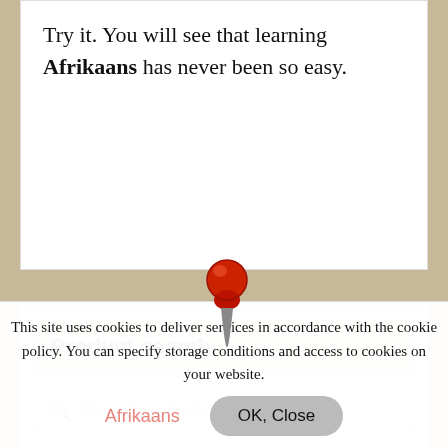Try it. You will see that learning Afrikaans has never been so easy.
[Figure (illustration): Red pushpin/thumbtack icon in the center between the two white cards]
Product search
Search products...
This site uses cookies to deliver services in accordance with the cookie policy. You can specify storage conditions and access to cookies on your website.
Afrikaans
OK, Close